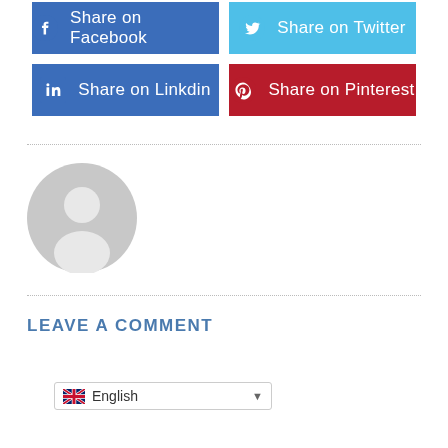[Figure (other): Share on Facebook button (blue)]
[Figure (other): Share on Twitter button (light blue)]
[Figure (other): Share on Linkdin button (blue)]
[Figure (other): Share on Pinterest button (dark red)]
[Figure (other): Generic user avatar placeholder - grey circle with person silhouette]
LEAVE A COMMENT
[Figure (other): Language selector dropdown showing English with UK flag]